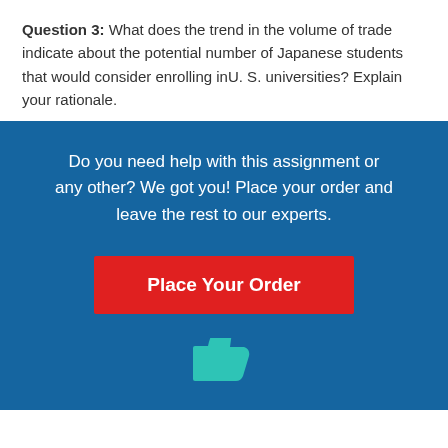Question 3: What does the trend in the volume of trade indicate about the potential number of Japanese students that would consider enrolling inU. S. universities? Explain your rationale.
Do you need help with this assignment or any other? We got you! Place your order and leave the rest to our experts.
Place Your Order
[Figure (illustration): Thumbs up icon in teal/cyan color at the bottom of the blue banner]